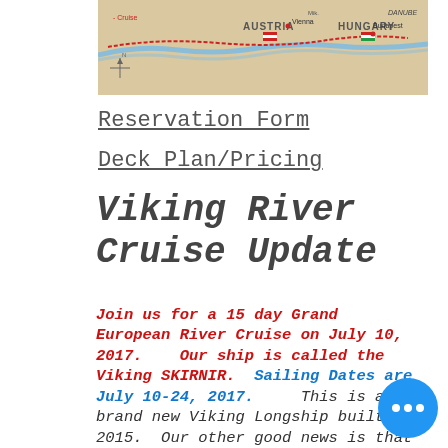[Figure (map): A partial map showing Austria and Hungary with river cruise route marked, including labels for Vienna, Budapest, and other locations along the Danube.]
Reservation Form
Deck Plan/Pricing
Viking River Cruise Update
Join us for a 15 day Grand European River Cruise on July 10, 2017.   Our ship is called the Viking SKIRNIR.  Sailing Dates are July 10-24, 2017.    This is a brand new Viking Longship built in 2015.  Our other good news is that the cruise rates have come in less